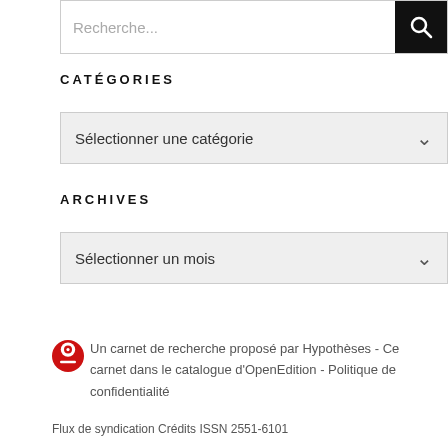[Figure (other): Search input box with magnifying glass button on black background]
CATÉGORIES
[Figure (other): Dropdown selector with text 'Sélectionner une catégorie']
ARCHIVES
[Figure (other): Dropdown selector with text 'Sélectionner un mois']
Un carnet de recherche proposé par Hypothèses - Ce carnet dans le catalogue d'OpenEdition - Politique de confidentialité
Flux de syndication Crédits ISSN 2551-6101